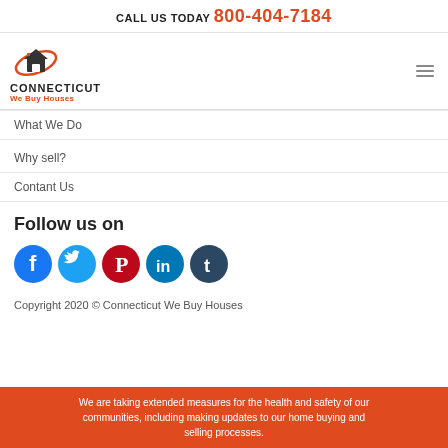CALL US TODAY 800-404-7184
[Figure (logo): Connecticut We Buy Houses logo with house icon and orange swoosh]
What We Do
Why sell?
Contant Us
Follow us on
[Figure (illustration): Social media icons: Facebook, Twitter, Pinterest, LinkedIn, Tumblr]
Copyright 2020 © Connecticut We Buy Houses
We are taking extended measures for the health and safety of our communities, including making updates to our home buying and selling processes.